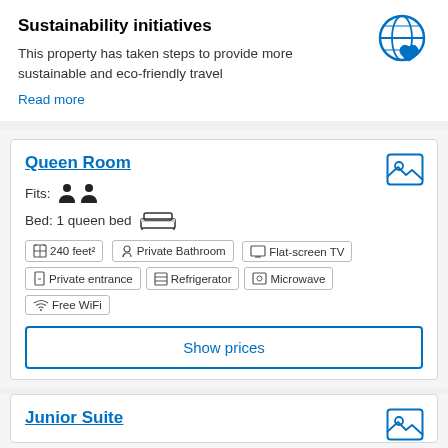Sustainability initiatives
This property has taken steps to provide more sustainable and eco-friendly travel
Read more
[Figure (illustration): Globe with heart sustainability icon in blue outline style]
Queen Room
[Figure (illustration): Photo/image gallery icon in blue outline style]
Fits: [person icon] [person icon]
Bed: 1 queen bed [bed icon]
240 feet²
Private Bathroom
Flat-screen TV
Private entrance
Refrigerator
Microwave
Free WiFi
Show prices
Junior Suite
[Figure (illustration): Photo/image gallery icon in blue outline style]